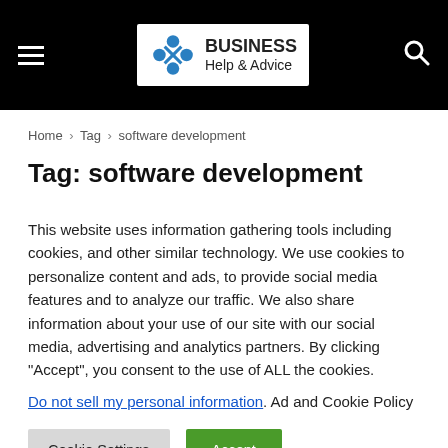Business Help & Advice
Home > Tag > software development
Tag: software development
This website uses information gathering tools including cookies, and other similar technology. We use cookies to personalize content and ads, to provide social media features and to analyze our traffic. We also share information about your use of our site with our social media, advertising and analytics partners. By clicking "Accept", you consent to the use of ALL the cookies.
Do not sell my personal information. Ad and Cookie Policy
Cookie Settings  Accept